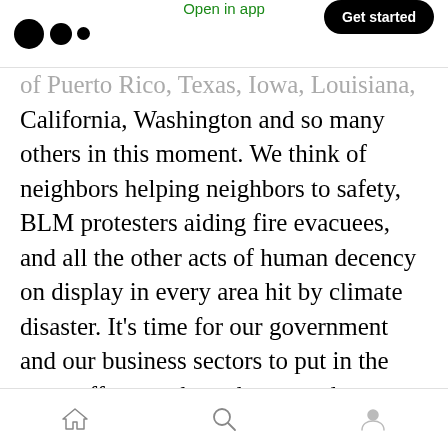Open in app | Get started
of Puerto Rico, Texas, Iowa, Louisiana, California, Washington and so many others in this moment. We think of neighbors helping neighbors to safety, BLM protesters aiding fire evacuees, and all the other acts of human decency on display in every area hit by climate disaster. It's time for our government and our business sectors to put in the same effort, to show the same decency. As we rebuild, let's also commit to rebuilding our insistence on responsive government.
Eric K. Ward is a Senior Fellow with the Southern
Home | Search | Profile